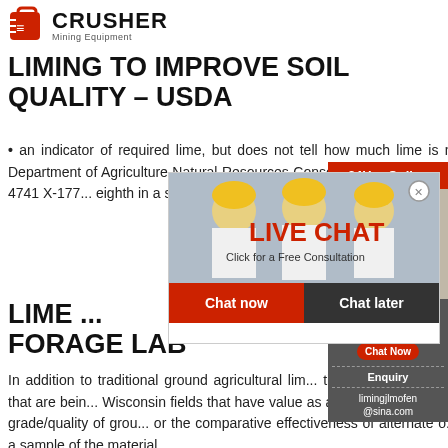[Figure (logo): Crusher Mining Equipment logo with red shopping bag icon and bold text]
LIMING TO IMPROVE SOIL QUALITY – USDA
an indicator of required lime, but does not tell how much lime is needed. United States Department of Agriculture Natural Resources Conservation Service Soil Quality Institute 41... 4741 X-177... eighth in a s...
LIME ... FORAGE LAB
In addition to traditional ground agricultural lime, there are many other types of materials that are being used in Wisconsin fields that have value as a liming material. The only way to determine the grade/quality of ground lime or the comparative effectiveness of alternate or substitute materials is to test a sample of the material.
[Figure (photo): Live Chat popup overlay with workers in hard hats, red LIVE CHAT text, Click for a Free Consultation, Chat now and Chat later buttons]
[Figure (infographic): Right sidebar: 24Hrs Online red bar, agent photo with headset, Need questions & suggestion box with Chat Now button, Enquiry link, limingjlmofen@sina.com email]